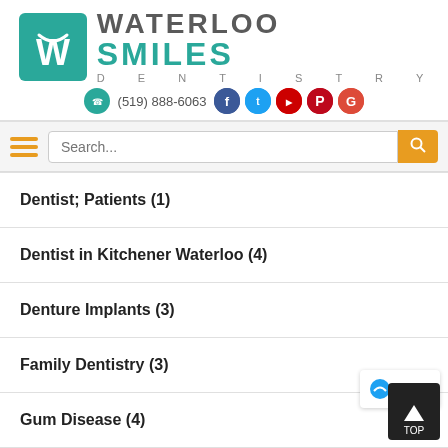[Figure (logo): Waterloo Smiles Dentistry logo with teal W icon and text]
(519) 888-6063 with phone icon and social media icons (Facebook, Twitter, YouTube, Pinterest, Google)
[Figure (screenshot): Navigation bar with hamburger menu and search box]
Dentist; Patients (1)
Dentist in Kitchener Waterloo (4)
Denture Implants (3)
Family Dentistry (3)
Gum Disease (4)
Healthy Living (9)